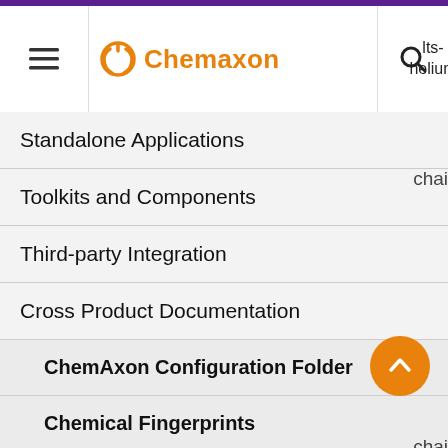Chemaxon — lts-helium navigation menu
Standalone Applications
Toolkits and Components
Third-party Integration
Cross Product Documentation
ChemAxon Configuration Folder
Chemical Fingerprints
Chemical Terms
Available Functions
Functions by Categories